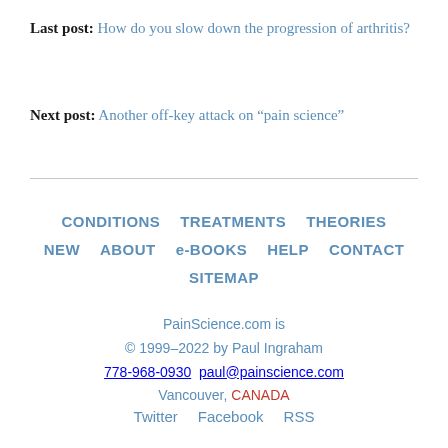Last post: How do you slow down the progression of arthritis?
Next post: Another off-key attack on “pain science”
CONDITIONS  TREATMENTS  THEORIES  NEW  ABOUT  e-BOOKS  HELP  CONTACT  SITEMAP
PainScience.com is © 1999–2022 by Paul Ingraham
778-968-0930  paul@painscience.com
Vancouver, CANADA
Twitter  Facebook  RSS